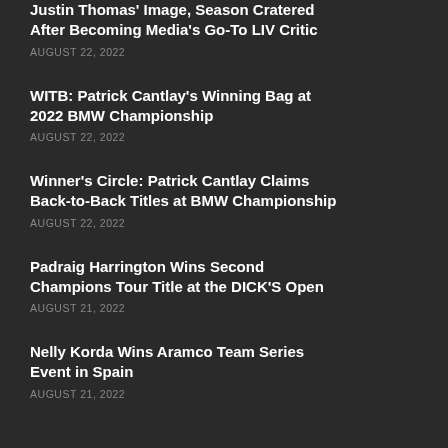Justin Thomas' Image, Season Cratered After Becoming Media's Go-To LIV Critic
AUGUST 22, 2022
WITB: Patrick Cantlay's Winning Bag at 2022 BMW Championship
AUGUST 22, 2022
Winner's Circle: Patrick Cantlay Claims Back-to-Back Titles at BMW Championship
AUGUST 22, 2022
Padraig Harrington Wins Second Champions Tour Title at the DICK'S Open
AUGUST 21, 2022
Nelly Korda Wins Aramco Team Series Event in Spain
AUGUST 21, 2022